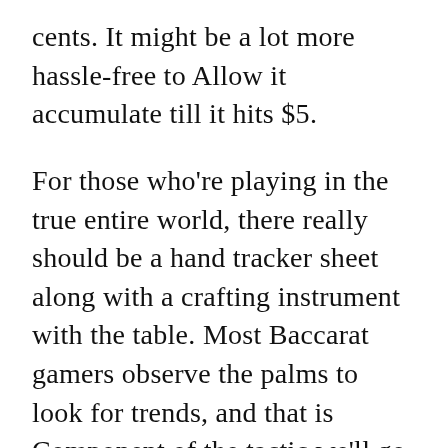cents. It might be a lot more hassle-free to Allow it accumulate till it hits $5.
For those who're playing in the true entire world, there really should be a hand tracker sheet along with a crafting instrument with the table. Most Baccarat gamers observe the palms to look for trends, and that is Component of the tactic we'll go into in One more short article.
On-line gamers can just use what ever they may have across the home-Except if the net casino tracks hands for you.